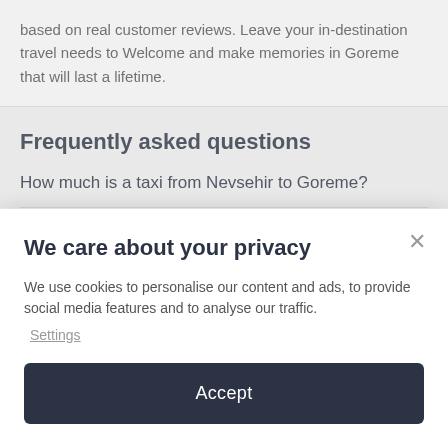based on real customer reviews. Leave your in-destination travel needs to Welcome and make memories in Goreme that will last a lifetime.
Frequently asked questions
How much is a taxi from Nevsehir to Goreme?
We care about your privacy
We use cookies to personalise our content and ads, to provide social media features and to analyse our traffic.
Settings
Accept